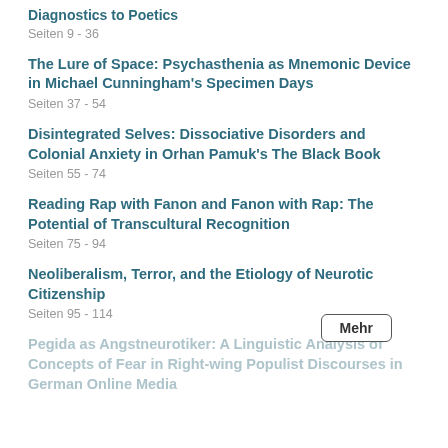Diagnostics to Poetics
Seiten 9 - 36
The Lure of Space: Psychasthenia as Mnemonic Device in Michael Cunningham's Specimen Days
Seiten 37 - 54
Disintegrated Selves: Dissociative Disorders and Colonial Anxiety in Orhan Pamuk's The Black Book
Seiten 55 - 74
Reading Rap with Fanon and Fanon with Rap: The Potential of Transcultural Recognition
Seiten 75 - 94
Neoliberalism, Terror, and the Etiology of Neurotic Citizenship
Seiten 95 - 114
Pegida as Angstneurotiker: A Linguistic Analysis of Concepts of Fear in Right-wing Populist Discourses in German Online Media